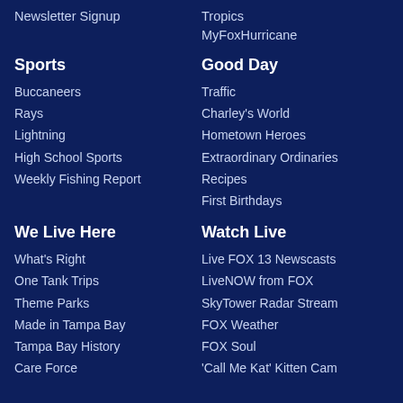Newsletter Signup
Tropics
MyFoxHurricane
Sports
Good Day
Buccaneers
Traffic
Rays
Charley's World
Lightning
Hometown Heroes
High School Sports
Extraordinary Ordinaries
Weekly Fishing Report
Recipes
First Birthdays
We Live Here
Watch Live
What's Right
Live FOX 13 Newscasts
One Tank Trips
LiveNOW from FOX
Theme Parks
SkyTower Radar Stream
Made in Tampa Bay
FOX Weather
Tampa Bay History
FOX Soul
Care Force
'Call Me Kat' Kitten Cam